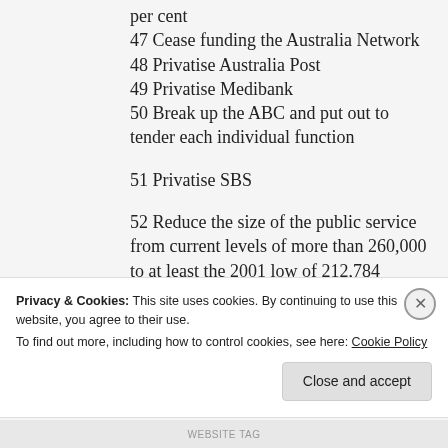per cent
47 Cease funding the Australia Network
48 Privatise Australia Post
49 Privatise Medibank
50 Break up the ABC and put out to tender each individual function
51 Privatise SBS
52 Reduce the size of the public service from current levels of more than 260,000 to at least the 2001 low of 212,784
53 Repeal the Fair Work Act
Privacy & Cookies: This site uses cookies. By continuing to use this website, you agree to their use.
To find out more, including how to control cookies, see here: Cookie Policy
WEBSITE TAG